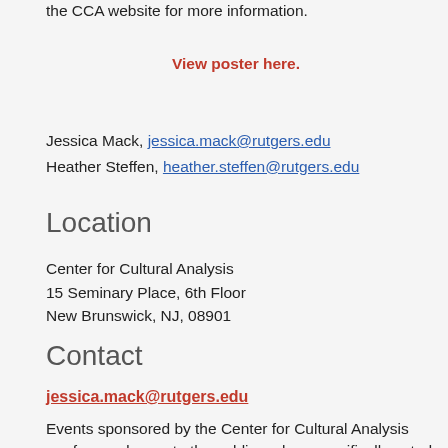the CCA website for more information.
View poster here.
Jessica Mack, jessica.mack@rutgers.edu
Heather Steffen, heather.steffen@rutgers.edu
Location
Center for Cultural Analysis
15 Seminary Place, 6th Floor
New Brunswick, NJ, 08901
Contact
jessica.mack@rutgers.edu
Events sponsored by the Center for Cultural Analysis are free and open to the public, unless specifically noted